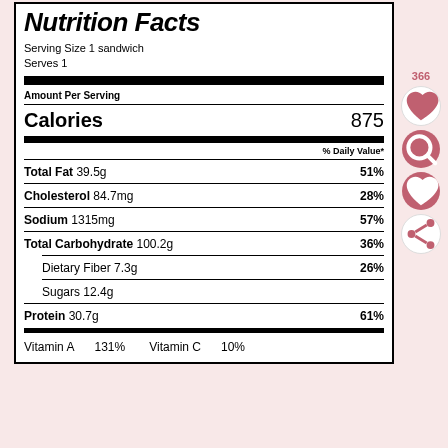Nutrition Facts
Serving Size 1 sandwich
Serves 1
Amount Per Serving
Calories 875
% Daily Value*
Total Fat 39.5g 51%
Cholesterol 84.7mg 28%
Sodium 1315mg 57%
Total Carbohydrate 100.2g 36%
Dietary Fiber 7.3g 26%
Sugars 12.4g
Protein 30.7g 61%
Vitamin A 131% Vitamin C 10%